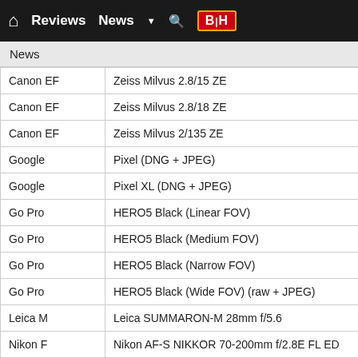Reviews  News  ▼  🔍  B|H
News
|  |  |
| --- | --- |
| Canon EF | Zeiss Milvus 2.8/15 ZE |
| Canon EF | Zeiss Milvus 2.8/18 ZE |
| Canon EF | Zeiss Milvus 2/135 ZE |
| Google | Pixel (DNG + JPEG) |
| Google | Pixel XL (DNG + JPEG) |
| Go Pro | HERO5 Black (Linear FOV) |
| Go Pro | HERO5 Black (Medium FOV) |
| Go Pro | HERO5 Black (Narrow FOV) |
| Go Pro | HERO5 Black (Wide FOV) (raw + JPEG) |
| Leica M | Leica SUMMARON-M 28mm f/5.6 |
| Nikon F | Nikon AF-S NIKKOR 70-200mm f/2.8E FL ED |
| Nikon F | SIGMA 12-24mm F4 DG HSM A016 |
| Nikon F | SIGMA 50-100mm F1.8 DC HSM A016 |
| Nikon F | SIGMA 85mm F1.4 DG HSM A016 |
| Nikon F | SIGMA 500mm F1.8 DG OS HSM A016 |